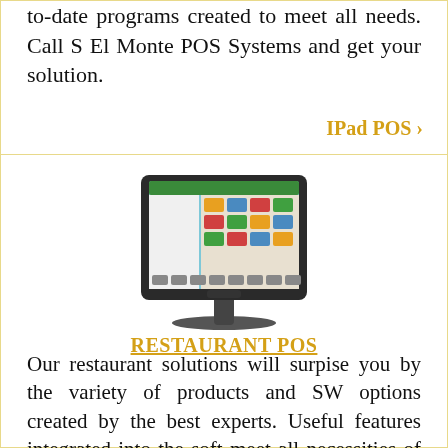to-date programs created to meet all needs. Call S El Monte POS Systems and get your solution.
IPad POS ›
[Figure (photo): A touchscreen POS terminal/monitor with a restaurant ordering interface displayed on screen, mounted on a black stand.]
RESTAURANT POS
Our restaurant solutions will surpise you by the variety of products and SW options created by the best experts. Useful features integrated into the soft meet all necessities of the customers and the working staff of